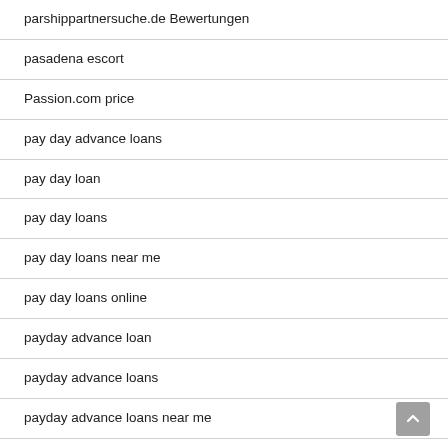parshippartnersuche.de Bewertungen
pasadena escort
Passion.com price
pay day advance loans
pay day loan
pay day loans
pay day loans near me
pay day loans online
payday advance loan
payday advance loans
payday advance loans near me
payday cash advance loans